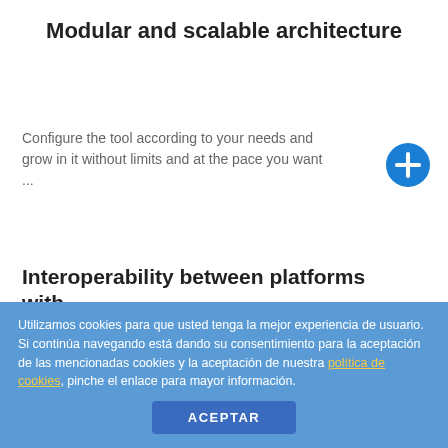Modular and scalable architecture
Configure the tool according to your needs and grow in it without limits and at the pace you want ...
Interoperability between platforms with
[Figure (logo): Konvergia logo with stylized K in purple and 'onvergia' in blue]
Upload a document and it will be distributed for the rest of the
Utilizamos cookies para que usted tenga la mejor experiencia de usuario. Si continúa navegando está dando su consentimiento para la aceptación de las mencionadas cookies y la aceptación de nuestra política de cookies, pinche el enlace para mayor información.
ACEPTAR